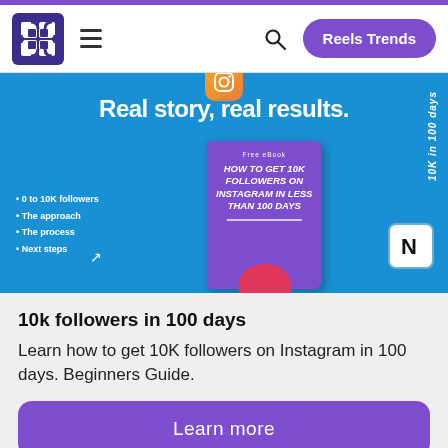Reels Trends
[Figure (illustration): Promotional banner for an eBook titled 'How to Get 10K Followers on Instagram in Less Than 100 Days'. Blue background with large white bold text 'Real story, real results.' A purple book cover in the center, bullet list on the left reading: 0 to 10K followers, The approach, The process, Next steps. Vertical text on the right reads '10K in 100 days'. Notion icon in bottom right.]
10k followers in 100 days
Learn how to get 10K followers on Instagram in 100 days. Beginners Guide.
Learn more